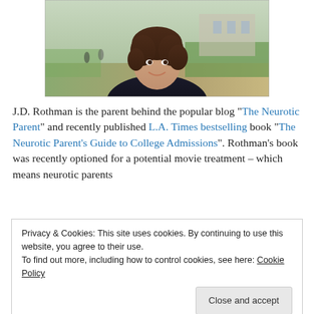[Figure (photo): Portrait photo of a woman with curly brown hair wearing a black leather jacket, smiling, photographed outdoors with a green campus/park background.]
J.D. Rothman is the parent behind the popular blog “The Neurotic Parent” and recently published L.A. Times bestselling book “The Neurotic Parent’s Guide to College Admissions”. Rothman’s book was recently optioned for a potential movie treatment – which means neurotic parents
Privacy & Cookies: This site uses cookies. By continuing to use this website, you agree to their use.
To find out more, including how to control cookies, see here: Cookie Policy

Close and accept